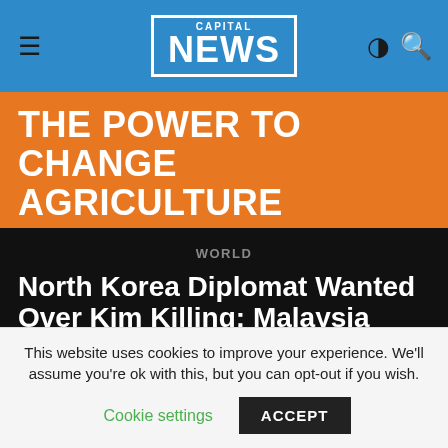CAPITAL NEWS
THE POWER TO CHANGE AGRICULTURE
WORLD
North Korea Diplomat Wanted Over Kim Killing: Malaysia
By AGENCE FRANCE PRESSE
Published February 23, 2017
This website uses cookies to improve your experience. We'll assume you're ok with this, but you can opt-out if you wish.
Cookie settings  ACCEPT